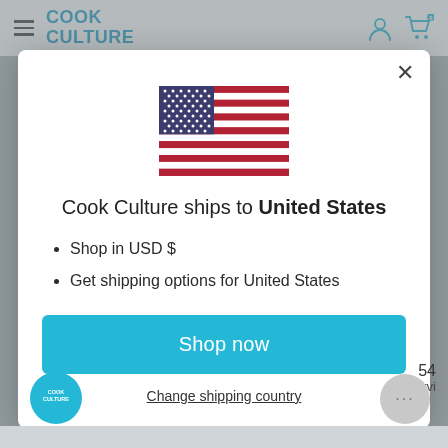[Figure (screenshot): Cook Culture website header with logo, hamburger menu, user and cart icons]
[Figure (screenshot): US flag SVG illustration shown in modal dialog]
Cook Culture ships to United States
Shop in USD $
Get shipping options for United States
Shop now
Change shipping country